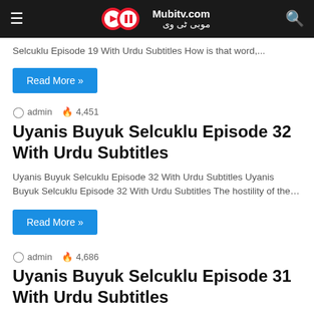Mubitv.com
Selcuklu Episode 19 With Urdu Subtitles How is that word,...
Read More »
admin  4,451
Uyanis Buyuk Selcuklu Episode 32 With Urdu Subtitles
Uyanis Buyuk Selcuklu Episode 32 With Urdu Subtitles Uyanis Buyuk Selcuklu Episode 32 With Urdu Subtitles The hostility of the…
Read More »
admin  4,686
Uyanis Buyuk Selcuklu Episode 31 With Urdu Subtitles
Uyanis Buyuk Selcuklu Episode 31 With Urdu Subtitles May my Lord